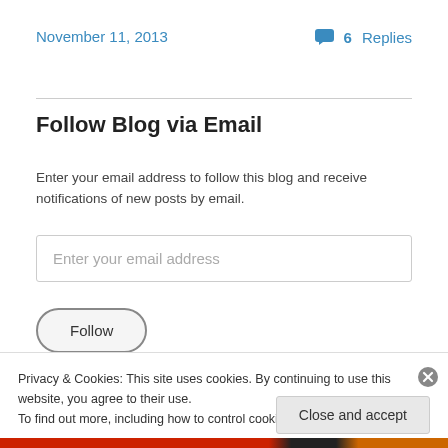November 11, 2013
6 Replies
Follow Blog via Email
Enter your email address to follow this blog and receive notifications of new posts by email.
Enter your email address
Follow
Privacy & Cookies: This site uses cookies. By continuing to use this website, you agree to their use.
To find out more, including how to control cookies, see here: Cookie Policy
Close and accept